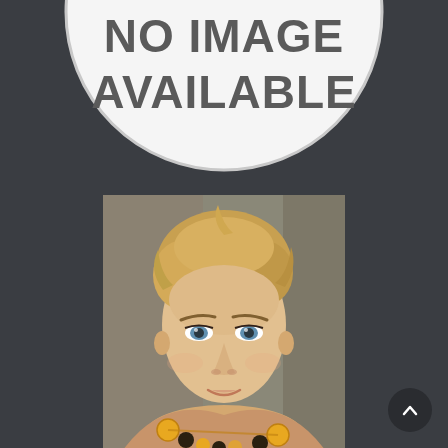[Figure (illustration): Circular 'No Image Available' placeholder graphic with white circle on dark grey background, showing text NO IMAGE AVAILABLE in bold dark grey sans-serif letters]
[Figure (photo): Portrait photo of a young blonde woman with blue eyes, wearing a yellow beaded necklace, looking directly at camera against a blurred background]
[Figure (other): Dark circular back-to-top button with upward chevron arrow in bottom-right corner]